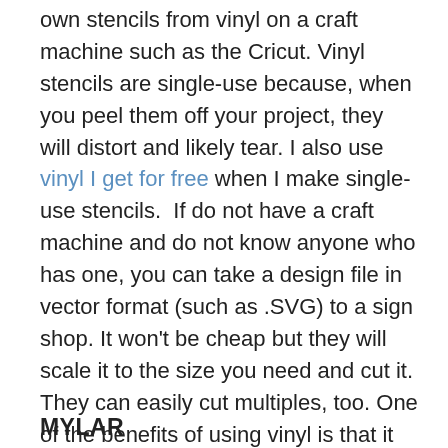own stencils from vinyl on a craft machine such as the Cricut. Vinyl stencils are single-use because, when you peel them off your project, they will distort and likely tear. I also use vinyl I get for free when I make single-use stencils.  If do not have a craft machine and do not know anyone who has one, you can take a design file in vector format (such as .SVG) to a sign shop. It won't be cheap but they will scale it to the size you need and cut it. They can easily cut multiples, too. One of the benefits of using vinyl is that it adheres to the project which keeps it from shifting around and reduces bleed-under for those who overload their brushes or use paint rollers. Additional benefits of vinyl stencils is the ability to use them on curved surfaces and there is no need to clean them after the project.
MYLAR